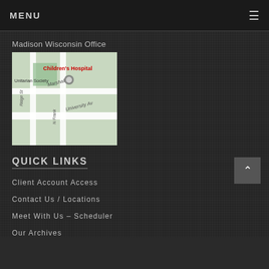MENU
Madison Wisconsin Office
[Figure (map): Google Maps view of Madison Wisconsin Office area near Children's Hospital, showing Unitarian Society, Marshall Ct, University Ave, Ridge St, and N Frank streets]
QUICK LINKS
Client Account Access
Contact Us / Locations
Meet With Us – Scheduler
Our Archives